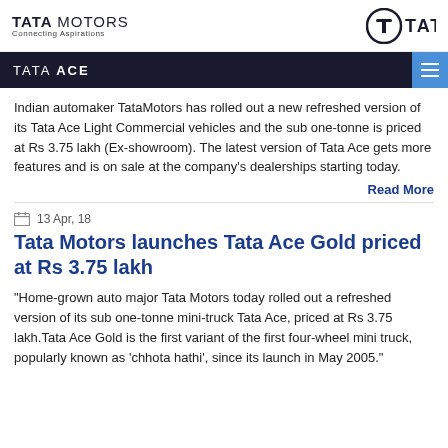TATA MOTORS Connecting Aspirations | TATA logo
TATA ACE
Indian automaker TataMotors has rolled out a new refreshed version of its Tata Ace Light Commercial vehicles and the sub one-tonne is priced at Rs 3.75 lakh (Ex-showroom). The latest version of Tata Ace gets more features and is on sale at the company's dealerships starting today.
Read More
13 Apr, 18
Tata Motors launches Tata Ace Gold priced at Rs 3.75 lakh
"Home-grown auto major Tata Motors today rolled out a refreshed version of its sub one-tonne mini-truck Tata Ace, priced at Rs 3.75 lakh.Tata Ace Gold is the first variant of the first four-wheel mini truck, popularly known as 'chhota hathi', since its launch in May 2005."